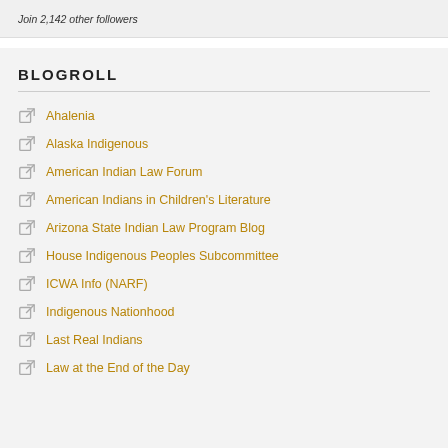Join 2,142 other followers
BLOGROLL
Ahalenia
Alaska Indigenous
American Indian Law Forum
American Indians in Children's Literature
Arizona State Indian Law Program Blog
House Indigenous Peoples Subcommittee
ICWA Info (NARF)
Indigenous Nationhood
Last Real Indians
Law at the End of the Day